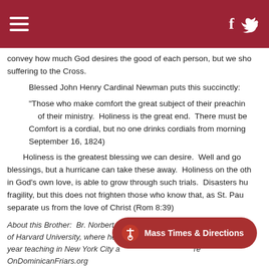[hamburger menu] [facebook icon] [twitter/share icon]
convey how much God desires the good of each person, but we sho suffering to the Cross.
Blessed John Henry Cardinal Newman puts this succinctly:
“Those who make comfort the great subject of their preachin of their ministry.  Holiness is the great end.  There must be Comfort is a cordial, but no one drinks cordials from morning September 16, 1824)
Holiness is the greatest blessing we can desire.  Well and go blessings, but a hurricane can take these away.  Holiness on the oth in God’s own love, is able to grow through such trials.  Disasters hu fragility, but this does not frighten those who know that, as St. Pau separate us from the love of Christ (Rom 8:39)
About this Brother:  Br. Norbert Keliher entered the Order of Preacher of Harvard University, where he studied Latin and Greek.  Before ente year teaching in New York City a… OnDominicanFriars.org